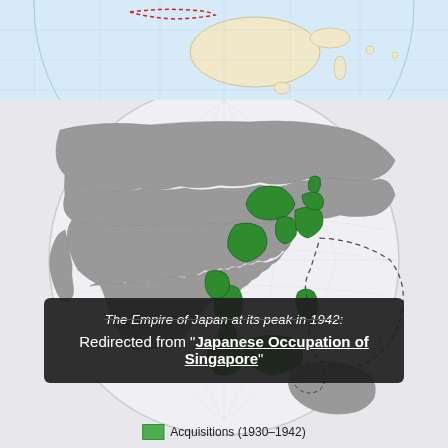[Figure (map): Top portion of a globe map showing Australia and surrounding ocean area, with a red dotted outline marking a region in the northern part of the map. Light blue ocean, beige/cream landmasses.]
[Figure (map): Globe map showing East Asia and Southeast Asia. Gray landmasses with green highlighted regions indicating the Empire of Japan at its peak in 1942, including Japan, Korea, parts of China, Manchuria, and Southeast Asian territories. Dotted outlines indicate claimed/occupied zones extending into the Pacific.]
The Empire of Japan at its peak in 1942:
Redirected from "Japanese Occupation of Singapore"
Acquisitions (1930–1942)